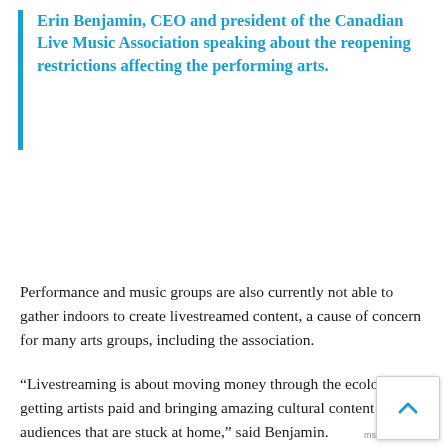Erin Benjamin, CEO and president of the Canadian Live Music Association speaking about the reopening restrictions affecting the performing arts.
Performance and music groups are also currently not able to gather indoors to create livestreamed content, a cause of concern for many arts groups, including the association.
“Livestreaming is about moving money through the ecology and getting artists paid and bringing amazing cultural content to audiences that are stuck at home,” said Benjamin.
The inability to produce livestreamed content indoors is severely affecting the CLMA’s plans for programming during the summer, Benjamin said.